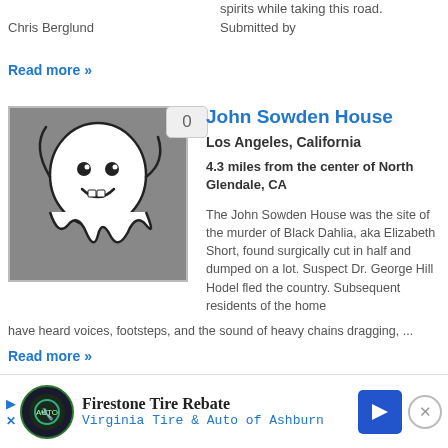spirits while taking this road. Submitted by Chris Berglund
Read more »
John Sowden House
Los Angeles, California
4.3 miles from the center of North Glendale, CA
The John Sowden House was the site of the murder of Black Dahlia, aka Elizabeth Short, found surgically cut in half and dumped on a lot. Suspect Dr. George Hill Hodel fled the country. Subsequent residents of the home have heard voices, footsteps, and the sound of heavy chains dragging, ...
Read more »
Charlie Chaplin Mansion
Los Angeles, California
Firestone Tire Rebate Virginia Tire & Auto of Ashburn